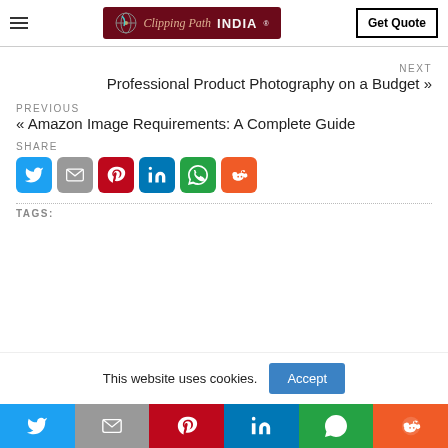[Figure (logo): Clipping Path INDIA logo in dark red/maroon banner with stylized globe icon]
Get Quote
NEXT
Professional Product Photography on a Budget »
PREVIOUS
« Amazon Image Requirements: A Complete Guide
SHARE
[Figure (infographic): Row of 6 social sharing icon buttons: Twitter (blue), Gmail (grey), Pinterest (red), LinkedIn (blue), WhatsApp (green), Reddit (orange)]
TAGS:
This website uses cookies.
[Figure (infographic): Bottom bar with 6 social icons: Twitter, Gmail, Pinterest, LinkedIn, WhatsApp, Reddit]